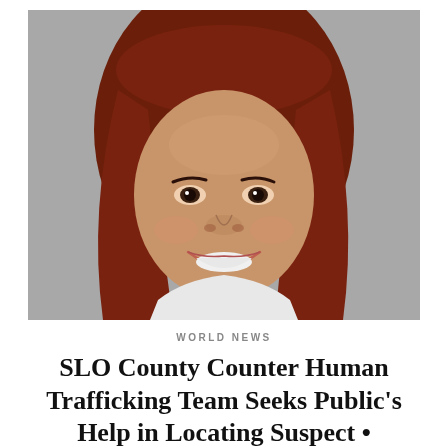[Figure (photo): Mugshot of a young woman with long reddish-brown hair, smiling, against a gray background]
WORLD NEWS
SLO County Counter Human Trafficking Team Seeks Public's Help in Locating Suspect •